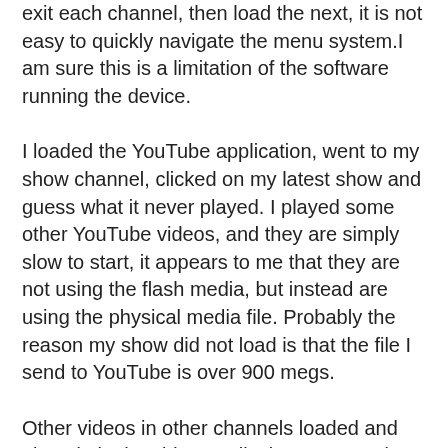exit each channel,  then load the next, it is not easy to quickly navigate the menu system.I am sure this is a limitation of the software running the device.
I loaded the YouTube application, went to my show channel, clicked on my latest show and guess what it never played. I played some other YouTube videos, and they are simply slow to start,  it appears to me that they are not using the flash media, but instead are using the physical media file. Probably the reason my show did not load is that the file I send to YouTube is over 900 megs.
Other videos in other channels loaded and played ok, the video quality is pretty good. I am sure that the Popbox folks will face the same challenges that the Roku folks did, but the Roku now has tons of content/channels. If the barrier to entry on channel development costs to be in the Popbox are as high as they are to be in the Roku then I am gonna have